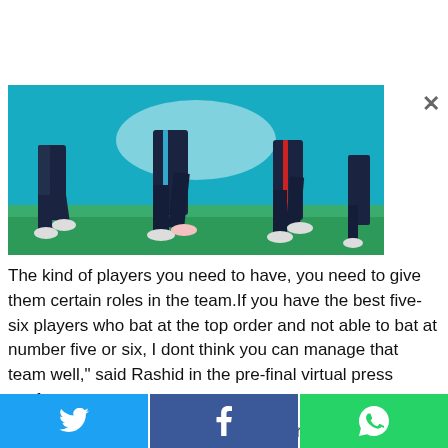[Figure (photo): Cricket players walking on a field, showing lower bodies and legs, with a blue/teal stadium background]
The kind of players you need to have, you need to give them certain roles in the team.If you have the best five-six players who bat at the top order and not able to bat at number five or six, I dont think you can manage that team well," said Rashid in the pre-final virtual press conference.
[Figure (photo): Thumbnail of a street scene, circular crop, related article image]
30 Days Of Emergency State Of Emergency In West Bank To Combat Suicide
[Figure (illustration): Arrow icon pointing right in a red rounded rectangle]
Twitter share | Facebook share | WhatsApp share